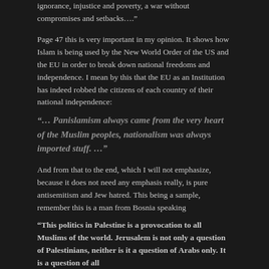ignorance, injustice and poverty, a war without compromises and setbacks…."
Page 47 this is very important in my opinion. It shows how Islam is being used by the New World Order of the US and the EU in order to break down national freedoms and independence. I mean by this that the EU as an Institution has indeed robbed the citizens of each country of their national independence:
"… Panislamism always came from the very heart of the Muslim peoples, nationalism was always imported stuff. …"
And from that to the end, which I will not emphasize, because it does not need any emphasis really, is pure antisemitism and Jew hatred. This being a sample, remember this is a man from Bosnia speaking
"This politics in Palestine is a provocation to all Muslims of the world. Jerusalem is not only a question of Palestinians, neither is it a question of Arabs only. It is a question of all